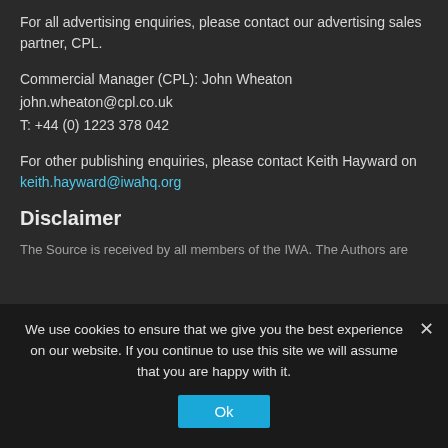For all advertising enquiries, please contact our advertising sales partner, CPL.
Commercial Manager (CPL): John Wheaton
john.wheaton@cpl.co.uk
T: +44 (0) 1223 378 042
For other publishing enquiries, please contact Keith Hayward on keith.hayward@iwahq.org
Disclaimer
The Source is received by all members of the IWA. The Authors are
We use cookies to ensure that we give you the best experience on our website. If you continue to use this site we will assume that you are happy with it.